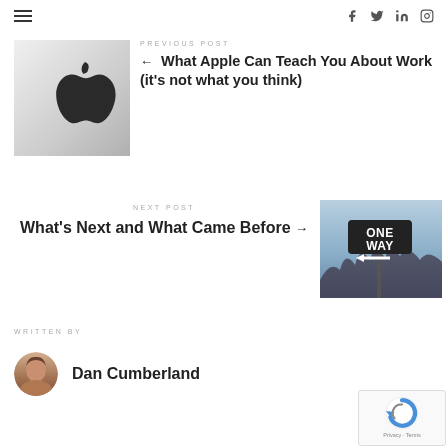Navigation header with hamburger menu and social icons: Facebook, Twitter, LinkedIn, Instagram
[Figure (photo): Apple logo on laptop lid, gray background]
PREVIOUS POST
← What Apple Can Teach You About Work (it's not what you think)
NEXT POST
What's Next and What Came Before →
[Figure (photo): One Way street sign against a blue sky with tree silhouettes]
WRITTEN BY
[Figure (photo): Author avatar photo of Dan Cumberland]
Dan Cumberland